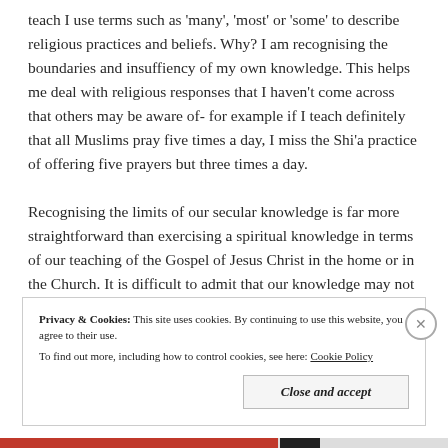teach I use terms such as 'many', 'most' or 'some' to describe religious practices and beliefs. Why? I am recognising the boundaries and insuffiency of my own knowledge. This helps me deal with religious responses that I haven't come across that others may be aware of- for example if I teach definitely that all Muslims pray five times a day, I miss the Shi'a practice of offering five prayers but three times a day.

Recognising the limits of our secular knowledge is far more straightforward than exercising a spiritual knowledge in terms of our teaching of the Gospel of Jesus Christ in the home or in the Church. It is difficult to admit that our knowledge may not be as
Privacy & Cookies: This site uses cookies. By continuing to use this website, you agree to their use.
To find out more, including how to control cookies, see here: Cookie Policy